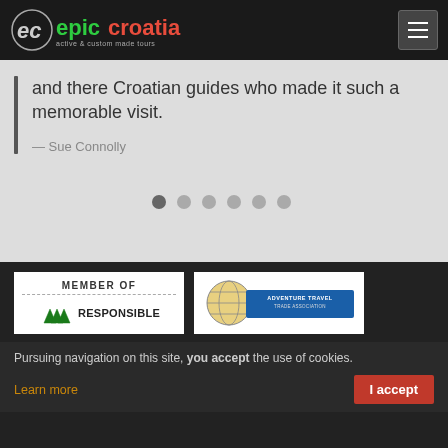[Figure (logo): Epic Croatia logo — stylized 'ec' cyclist icon in white/grey on dark background, with 'epic' in green and 'croatia' in red text, tagline 'active & custom made tours']
and there Croatian guides who made it such a memorable visit.
— Sue Connolly
[Figure (other): Carousel pagination dots — 6 dots, first one darker (active), rest light grey]
[Figure (logo): Member of Responsible Travel badge — white box with 'MEMBER OF' text, dashed line, tree icons and 'RESPONSIBLE' text]
[Figure (logo): Adventure Travel Trade Association logo — globe icon with blue banner reading 'ADVENTURE TRAVEL TRADE ASSOCIATION']
Pursuing navigation on this site, you accept the use of cookies.
Learn more
I accept